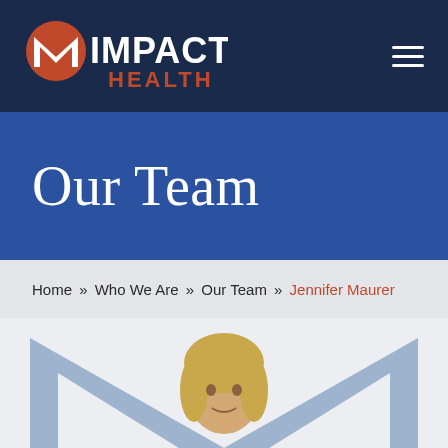[Figure (logo): Impact Health logo with orange M icon and white IMPACT text, orange HEALTH text below, on dark navy background]
Our Team
Home » Who We Are » Our Team » Jennifer Maurer
[Figure (photo): Profile photo of Jennifer Maurer with light blue Impact Health M watermark background, showing blonde woman from shoulders up]